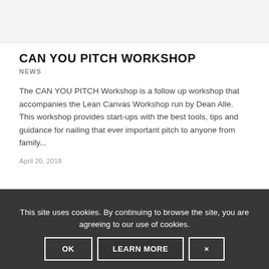[Figure (photo): Top banner image area, light gray background]
CAN YOU PITCH WORKSHOP
NEWS
The CAN YOU PITCH Workshop is a follow up workshop that accompanies the Lean Canvas Workshop run by Dean Alle. This workshop provides start-ups with the best tools, tips and guidance for nailing that ever important pitch to anyone from family...
April 20, 2018
This site uses cookies. By continuing to browse the site, you are agreeing to our use of cookies.